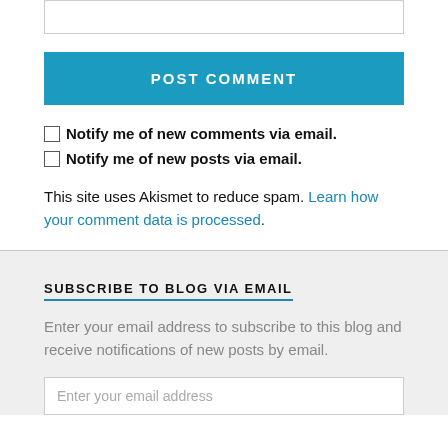[Figure (other): Partial text area input box (top edge visible)]
POST COMMENT
Notify me of new comments via email.
Notify me of new posts via email.
This site uses Akismet to reduce spam. Learn how your comment data is processed.
SUBSCRIBE TO BLOG VIA EMAIL
Enter your email address to subscribe to this blog and receive notifications of new posts by email.
Enter your email address